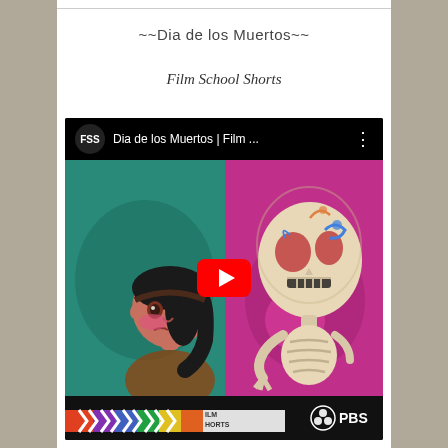~~Dia de los Muertos~~
Film School Shorts
[Figure (screenshot): YouTube video thumbnail for 'Dia de los Muertos | Film ...' by Film School Shorts (FSS) on PBS. Shows an animated girl with dark hair facing a colorful decorated skeleton character, with a YouTube play button overlay. Bottom bar shows Film School Shorts logo with colorful chevrons and PBS logo.]